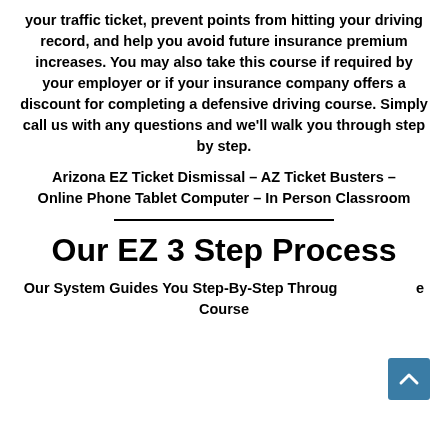your traffic ticket, prevent points from hitting your driving record, and help you avoid future insurance premium increases. You may also take this course if required by your employer or if your insurance company offers a discount for completing a defensive driving course. Simply call us with any questions and we'll walk you through step by step.
Arizona EZ Ticket Dismissal – AZ Ticket Busters – Online Phone Tablet Computer – In Person Classroom
Our EZ 3 Step Process
Our System Guides You Step-By-Step Through the Course